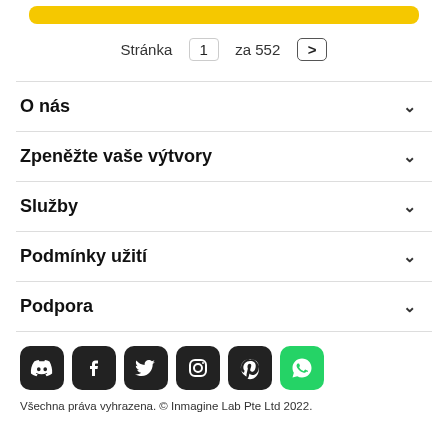[Figure (other): Yellow navigation bar at top]
Stránka 1 za 552 >
O nás
Zpeněžte vaše výtvory
Služby
Podmínky užití
Podpora
[Figure (other): Social media icons row: Discord, Facebook, Twitter, Instagram, Pinterest, WhatsApp]
Všechna práva vyhrazena. © Inmagine Lab Pte Ltd 2022.